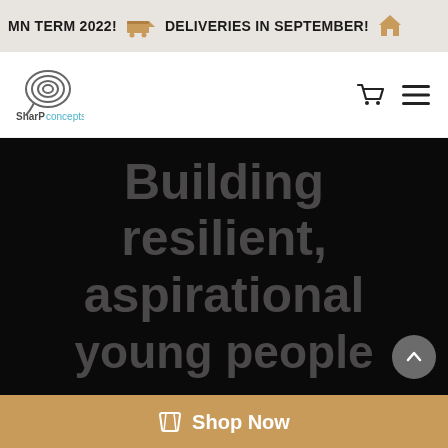MN TERM 2022! DELIVERIES IN SEPTEMBER!
[Figure (logo): SharP concepts logo with spiral/speech-bubble graphic above text 'SharP concepts']
Building resilient, aspirational young people
Shop Now